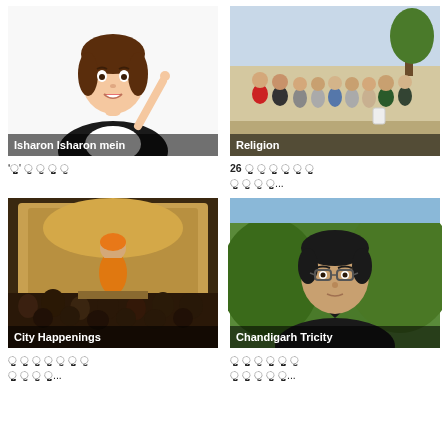[Figure (illustration): Cartoon avatar of a woman in black jacket with finger pointing up, labeled 'Isharon Isharon mein']
[Figure (photo): Group photo of people standing outdoors, labeled 'Religion']
'ੁੁੁੁੁੁੁੁ' ੁੁ ੁੁ ੁੁੁੁੁੁੁ ੁੁ
26 ੁੁੁੁੁ ੁੁ ੁੁੁੁੁੁ ੁੁੁੁੁ ੁੁੁੁ ੁੁੁੁ ੁੁੁੁ ੁੁੁ ੁੁ ੁੁੁੁ...
[Figure (photo): Crowd gathering with person in orange robes on stage, labeled 'City Happenings']
[Figure (photo): Portrait of a man with glasses outdoors, labeled 'Chandigarh Tricity']
ੁੁੁੁ ੁੁੁੁ ੁੁੁੁ ੁੁੁੁ ੁੁ ੁੁੁੁੁੁ ੁੁ ੁੁੁੁੁੁੁੁੁੁ ੁੁ ੁੁੁ ੁੁੁੁੁੁੁ...
ੁੁੁੁੁੁ ੁੁੁੁੁੁੁੁ ੁੁ ੁੁੁੁੁੁ ੁੁੁੁੁੁੁੁੁ ੁੁ ੁੁੁੁੁ ੁੁੁੁੁੁ ੁੁ ੁੁੁੁ ੁੁੁੁੁ...